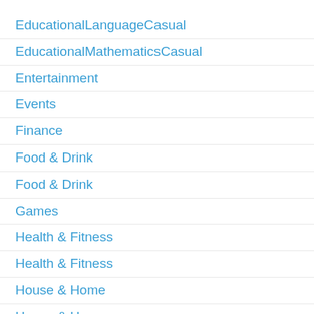EducationalLanguageCasual
EducationalMathematicsCasual
Entertainment
Events
Finance
Food & Drink
Food & Drink
Games
Health & Fitness
Health & Fitness
House & Home
House & Home
Libraries & Demo
Libraries & Demo
Lifestyle